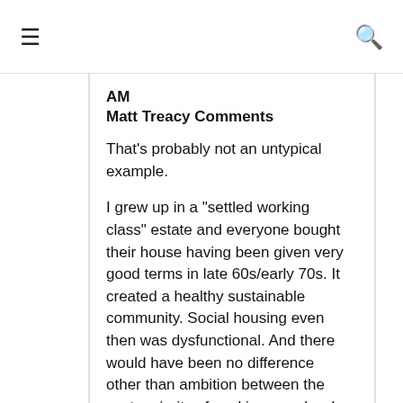≡  🔍
AM
Matt Treacy Comments
That's probably not an untypical example.
I grew up in a "settled working class" estate and everyone bought their house having been given very good terms in late 60s/early 70s. It created a healthy sustainable community. Social housing even then was dysfunctional. And there would have been no difference other than ambition between the vast majority of working people who bought their homes, and those who didn't.
My parents had very small mortgage too, which meant that the one time my father and myself and brother were briefly out of work in mid 80s that it could still be paid.